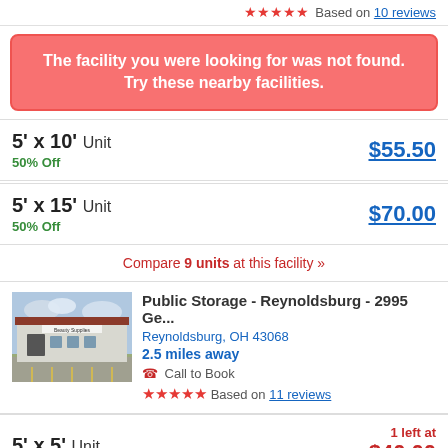Based on 10 reviews
The facility you were looking for was not found. Try these nearby facilities.
5' x 10' Unit
50% Off
$55.50
5' x 15' Unit
50% Off
$70.00
Compare 9 units at this facility »
Public Storage - Reynoldsburg - 2995 Ge...
Reynoldsburg, OH 43068
2.5 miles away
Call to Book
Based on 11 reviews
5' x 5' Unit
1 left at
$40.00
1 left at